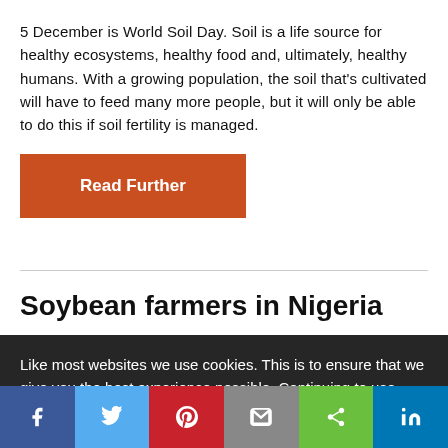5 December is World Soil Day. Soil is a life source for healthy ecosystems, healthy food and, ultimately, healthy humans. With a growing population, the soil that's cultivated will have to feed many more people, but it will only be able to do this if soil fertility is managed.
Read Further
Soybean farmers in Nigeria
Like most websites we use cookies. This is to ensure that we give you the best experience possible. Continuing to use CABI Blog means you agree to our use of cookies. If you would like to, you can learn more about the cookies we use here.